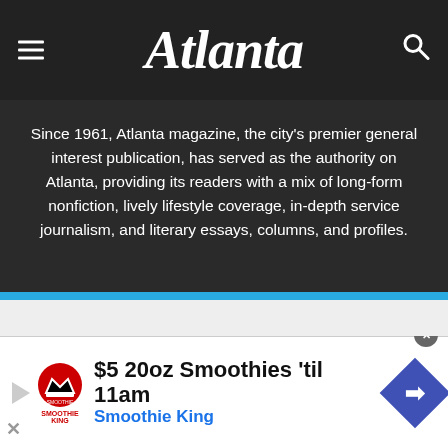Atlanta
Since 1961, Atlanta magazine, the city's premier general interest publication, has served as the authority on Atlanta, providing its readers with a mix of long-form nonfiction, lively lifestyle coverage, in-depth service journalism, and literary essays, columns, and profiles.
Join our daily newsletter list!
[Figure (photo): Atlanta city skyline at dusk with pink and blue sky]
Start your morning with us. The Daily Brief delivers
$5 20oz Smoothies 'til 11am
Smoothie King